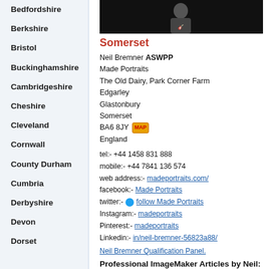Bedfordshire
Berkshire
Bristol
Buckinghamshire
Cambridgeshire
Cheshire
Cleveland
Cornwall
County Durham
Cumbria
Derbyshire
Devon
Dorset
[Figure (photo): Dark portrait photo of a person against black background]
Somerset
Neil Bremner ASWPP
Made Portraits
The Old Dairy, Park Corner Farm
Edgarley
Glastonbury
Somerset
BA6 8JY MAP
England
tel:- +44 1458 831 888
mobile:- +44 7841 136 574
web address:- madeportraits.com/
facebook:- Made Portraits
twitter:- follow Made Portraits
Instagram:- madeportraits
Pinterest:- madeportraits
Linkedin:- in/neil-bremner-56823a88/
Neil Bremner Qualification Panel.
Professional ImageMaker Articles by Neil:
Effective Website Coding